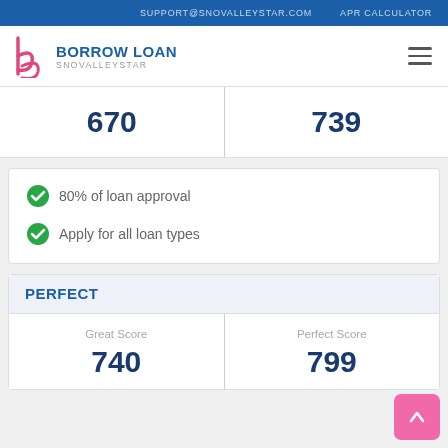SUPPORT@SNOVALLEYSTAR.COM   APR CALCULATOR
BORROW LOAN SNOVALLEYSTAR
|  |  |
| --- | --- |
| 670 | 739 |
80% of loan approval
Apply for all loan types
PERFECT
| Great Score | Perfect Score |
| --- | --- |
| 740 | 799 |